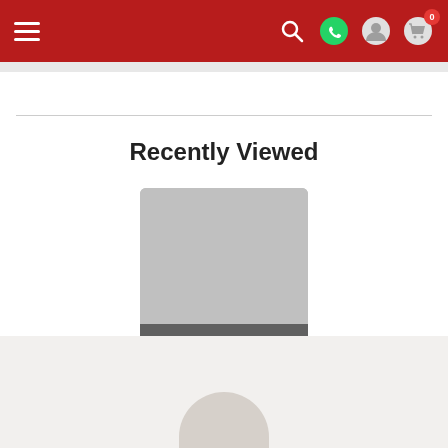Navigation bar with hamburger menu, search, WhatsApp, user account, and cart (0) icons on red background
Recently Viewed
[Figure (screenshot): Product card showing a gray placeholder image with label 'Assassin pursued ...' on dark overlay at bottom]
Footer area with light beige background